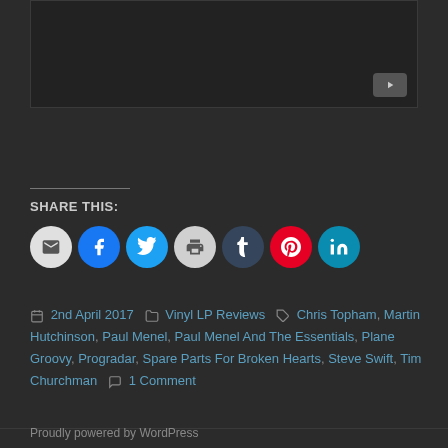[Figure (screenshot): Dark video embed area with YouTube icon in bottom right corner]
SHARE THIS:
[Figure (infographic): Row of social sharing circular icon buttons: email, Facebook (blue), Twitter (light blue), print (grey), Tumblr (dark blue), Pinterest (red), LinkedIn (teal)]
2nd April 2017   Vinyl LP Reviews   Chris Topham, Martin Hutchinson, Paul Menel, Paul Menel And The Essentials, Plane Groovy, Progradar, Spare Parts For Broken Hearts, Steve Swift, Tim Churchman   1 Comment
Proudly powered by WordPress